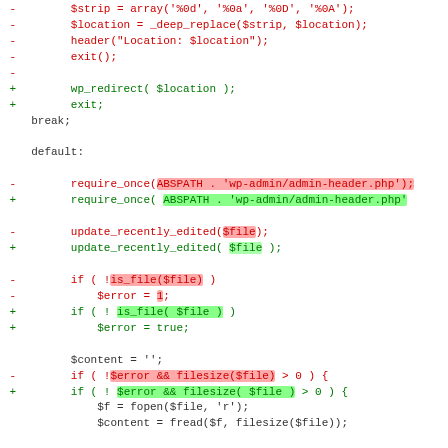[Figure (screenshot): A code diff view showing PHP code changes with removed lines in red and added lines in green, with highlighted spans indicating specific changed tokens. The diff includes changes to redirect logic, require_once, update_recently_edited, is_file checks, and filesize conditionals, with a @@ hunk header at the bottom.]